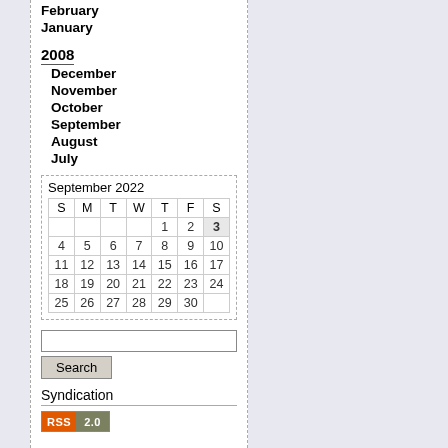February
January
2008
December
November
October
September
August
July
| S | M | T | W | T | F | S |
| --- | --- | --- | --- | --- | --- | --- |
|  |  |  |  | 1 | 2 | 3 |
| 4 | 5 | 6 | 7 | 8 | 9 | 10 |
| 11 | 12 | 13 | 14 | 15 | 16 | 17 |
| 18 | 19 | 20 | 21 | 22 | 23 | 24 |
| 25 | 26 | 27 | 28 | 29 | 30 |  |
Search
Syndication
[Figure (other): RSS 2.0 badge]